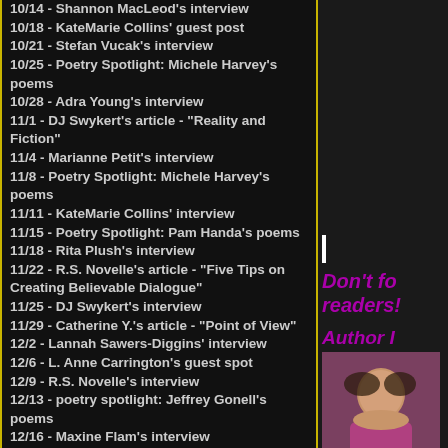10/14 - Shannon MacLeod's interview
10/18 - KateMarie Collins' guest post
10/21 - Stefan Vucak's interview
10/25 - Poetry Spotlight: Michele Harvey's poems
10/28 - Adra Young's interview
11/1 - DJ Swykert's article - "Reality and Fiction"
11/4 - Marianne Petit's interview
11/8 - Poetry Spotlight: Michele Harvey's poems
11/11 - KateMarie Collins' interview
11/15 - Poetry Spotlight: Pam Handa's poems
11/18 - Rita Plush's interview
11/22 - R.S. Novelle's article - "Five Tips on Creating Believable Dialogue"
11/25 - DJ Swykert's interview
11/29 - Catherine Y.'s article - "Point of View"
12/2 - Lannah Sawers-Diggins' interview
12/6 - L. Anne Carrington's guest spot
12/9 - R.S. Novelle's interview
12/13 - poetry spotlight: Jeffrey Gonell's poems
12/16 - Maxine Flam's interview
12/20 - poetry spotlight: Murray Alfredson's poems and explanation on
Don't fo readers!
Author I
[Figure (photo): Author photo — woman in pink/magenta top]